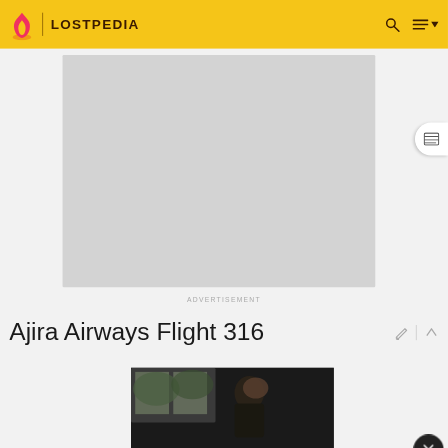LOSTPEDIA
[Figure (screenshot): Advertisement placeholder area (gray rectangle)]
ADVERTISEMENT
Ajira Airways Flight 316
[Figure (photo): Dark screenshot from what appears to be the TV show LOST, showing a figure near a window]